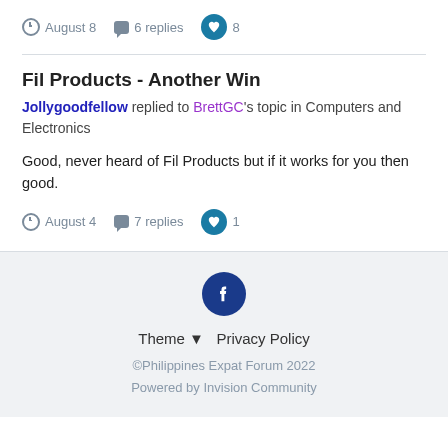August 8   6 replies   8
Fil Products - Another Win
Jollygoodfellow replied to BrettGC's topic in Computers and Electronics
Good, never heard of Fil Products but if it works for you then good.
August 4   7 replies   1
[Figure (logo): Facebook logo circle icon in dark blue]
Theme ▼   Privacy Policy
©Philippines Expat Forum 2022
Powered by Invision Community